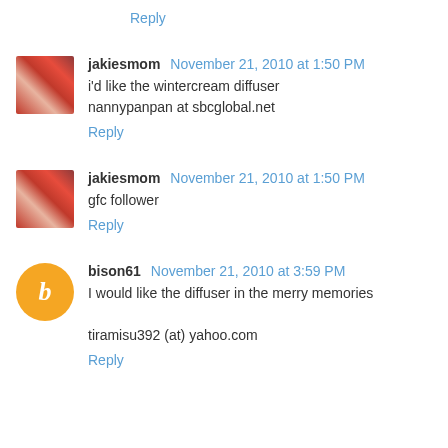Reply
jakiesmom  November 21, 2010 at 1:50 PM
i'd like the wintercream diffuser
nannypanpan at sbcglobal.net
Reply
jakiesmom  November 21, 2010 at 1:50 PM
gfc follower
Reply
bison61  November 21, 2010 at 3:59 PM
I would like the diffuser in the merry memories

tiramisu392 (at) yahoo.com
Reply